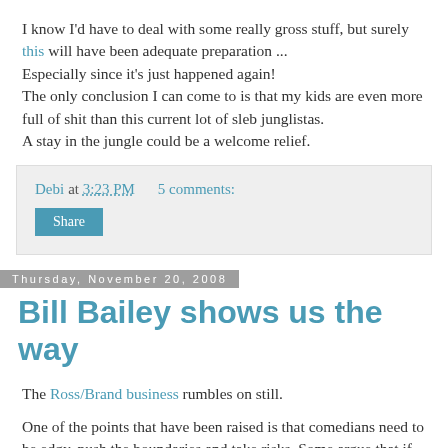I know I'd have to deal with some really gross stuff, but surely this will have been adequate preparation ... Especially since it's just happened again! The only conclusion I can come to is that my kids are even more full of shit than this current lot of sleb junglistas. A stay in the jungle could be a welcome relief.
Debi at 3:23 PM    5 comments:
Share
Thursday, November 20, 2008
Bill Bailey shows us the way
The Ross/Brand business rumbles on still.
One of the points that have been raised is that comedians need to be edgy, push the boundaries and take risks. Some argue that if, as a result of R 'n' B's antics, laughter merchants feel they have to be more careful from now on